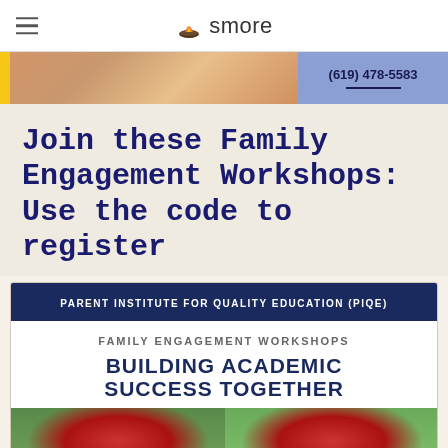smore
[Figure (photo): Banner image with yellow strip, classroom photo, and blue panel showing phone number (619) 478-5583]
Join these Family Engagement Workshops: Use the code to register
[Figure (infographic): PIQE Family Engagement Workshops card: 'PARENT INSTITUTE FOR QUALITY EDUCATION (PIQE)' header, 'FAMILY ENGAGEMENT WORKSHOPS' subtitle, 'BUILDING ACADEMIC SUCCESS TOGETHER' bold title, graduation photo at bottom]